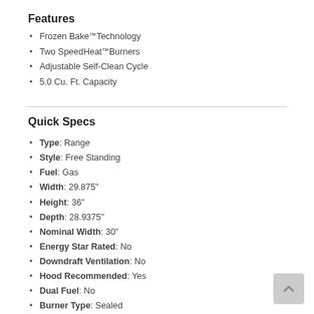Features
Frozen Bake™ Technology
Two SpeedHeat™ Burners
Adjustable Self-Clean Cycle
5.0 Cu. Ft. Capacity
Quick Specs
Type: Range
Style: Free Standing
Fuel: Gas
Width: 29.875"
Height: 36"
Depth: 28.9375"
Nominal Width: 30"
Energy Star Rated: No
Downdraft Ventilation: No
Hood Recommended: Yes
Dual Fuel: No
Burner Type: Sealed
Self Clean: Yes
Convection: No
Drawer: Storage
First Oven: 5.0 cu. ft.